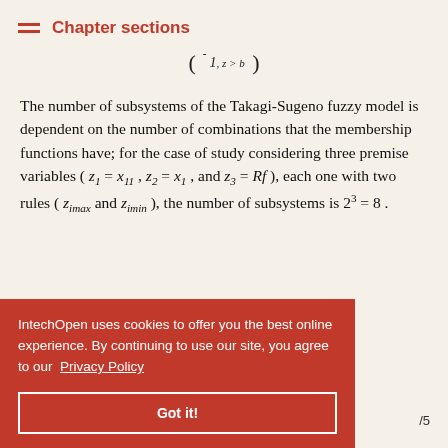Chapter sections
The number of subsystems of the Takagi-Sugeno fuzzy model is dependent on the number of combinations that the membership functions have; for the case of study considering three premise variables ( z_1 = x_{11} , z_2 = x_1 , and z_3 = Rf ), each one with two rules ( z_{imax} and z_{imin} ), the number of subsystems is 2^3 = 8 .
IntechOpen uses cookies to offer you the best online experience. By continuing to use our site, you agree to our Privacy Policy
Got it!